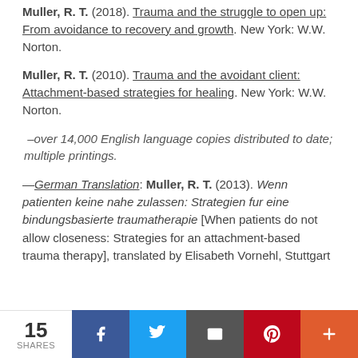Muller, R. T. (2018). Trauma and the struggle to open up: From avoidance to recovery and growth. New York: W.W. Norton.
Muller, R. T. (2010). Trauma and the avoidant client: Attachment-based strategies for healing. New York: W.W. Norton.
–over 14,000 English language copies distributed to date; multiple printings.
—German Translation: Muller, R. T. (2013). Wenn patienten keine nahe zulassen: Strategien fur eine bindungsbasierte traumatherapie [When patients do not allow closeness: Strategies for an attachment-based trauma therapy], translated by Elisabeth Vornehl, Stuttgart
15 SHARES | Facebook | Twitter | Email | Pinterest | More